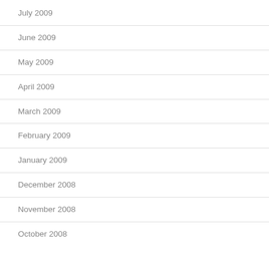July 2009
June 2009
May 2009
April 2009
March 2009
February 2009
January 2009
December 2008
November 2008
October 2008